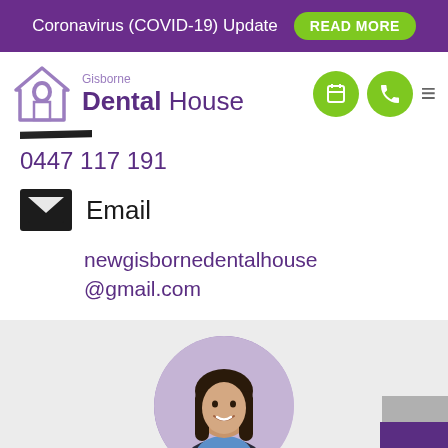Coronavirus (COVID-19) Update  READ MORE
[Figure (logo): Gisborne Dental House logo with house/tooth icon]
0447 117 191
[Figure (illustration): Black envelope icon representing email]
Email
newgisbornedentalhouse@gmail.com
[Figure (photo): Circular cropped photo of a smiling woman with dark hair, wearing a blue dental uniform]
CLOSE